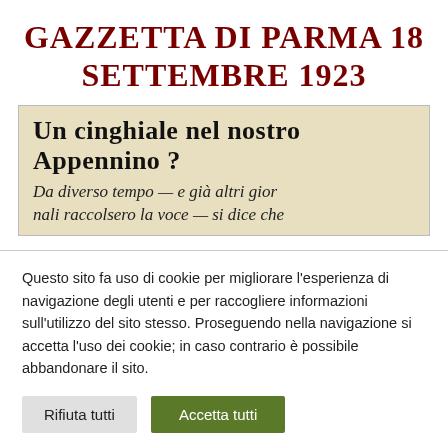GAZZETTA DI PARMA 18 SETTEMBRE 1923
[Figure (photo): Scanned newspaper clipping from Gazzetta di Parma with headline 'Un cinghiale nel nostro Appennino?' and partial article text: 'Da diverso tempo — e già altri giornali raccolsero la voce — si dice che']
Questo sito fa uso di cookie per migliorare l'esperienza di navigazione degli utenti e per raccogliere informazioni sull'utilizzo del sito stesso. Proseguendo nella navigazione si accetta l'uso dei cookie; in caso contrario è possibile abbandonare il sito.
Rifiuta tutti
Accetta tutti